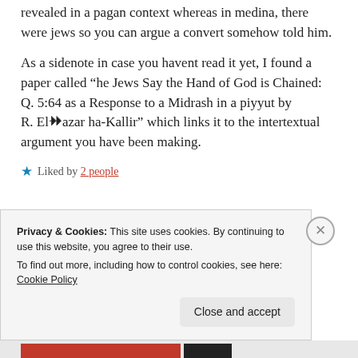revealed in a pagan context whereas in medina, there were jews so you can argue a convert somehow told him.
As a sidenote in case you havent read it yet, I found a paper called “he Jews Say the Hand of God is Chained: Q. 5:64 as a Response to a Midrash in a piyyut by R. Elʾazar ha-Kallir” which links it to the intertextual argument you have been making.
★ Liked by 2 people
Privacy & Cookies: This site uses cookies. By continuing to use this website, you agree to their use.
To find out more, including how to control cookies, see here: Cookie Policy
Close and accept